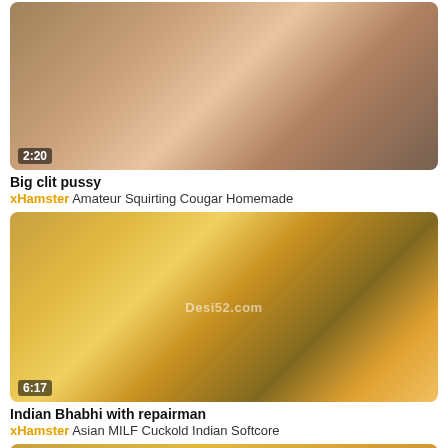[Figure (photo): Video thumbnail showing close-up hands scene with duration overlay 2:20]
Big clit pussy
xHamster Amateur Squirting Cougar Homemade
[Figure (photo): Video thumbnail showing two people on a bed in a room with orange curtain, watermark Desi52.com, duration 6:17]
Indian Bhabhi with repairman
xHamster Asian MILF Cuckold Indian Softcore
[Figure (photo): Partial video thumbnail at bottom of page]